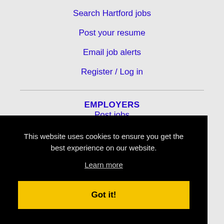Search Hartford jobs
Post your resume
Email job alerts
Register / Log in
EMPLOYERS
Post jobs
Search resumes
This website uses cookies to ensure you get the best experience on our website.
Learn more
Got it!